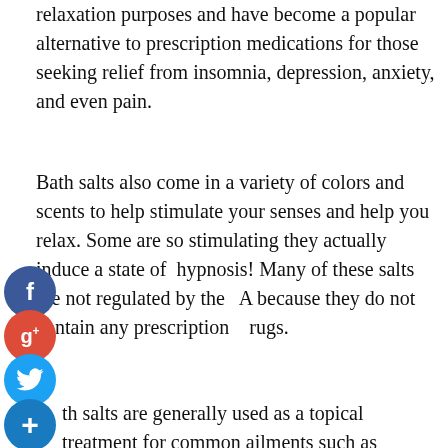relaxation purposes and have become a popular alternative to prescription medications for those seeking relief from insomnia, depression, anxiety, and even pain.
Bath salts also come in a variety of colors and scents to help stimulate your senses and help you relax. Some are so stimulating they actually induce a state of hypnosis! Many of these salts are not regulated by the FDA because they do not contain any prescription drugs.
Bath salts are generally used as a topical treatment for common ailments such as headache, flu-like symptoms, diarrhea, indigestion, and even eczema.